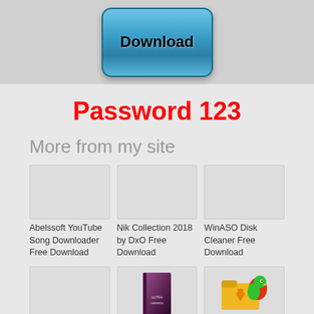[Figure (screenshot): Blue Download button with rounded corners on a light gray background]
Password 123
More from my site
[Figure (screenshot): Abelssoft YouTube Song Downloader Free Download - gray placeholder image]
Abelssoft YouTube Song Downloader Free Download
[Figure (screenshot): Nik Collection 2018 by DxO Free Download - gray placeholder image]
Nik Collection 2018 by DxO Free Download
[Figure (screenshot): WinASO Disk Cleaner Free Download - gray placeholder image]
WinASO Disk Cleaner Free Download
[Figure (screenshot): Gray placeholder image (bottom left card)]
[Figure (illustration): Purple/dark book cover - Ultramon software]
[Figure (illustration): Yellow folder with colorful parrot icon]